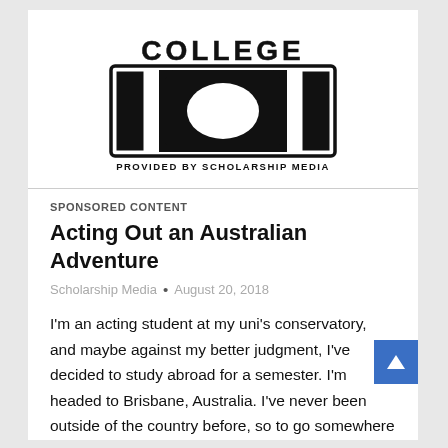[Figure (logo): College 101 logo provided by Scholarship Media — large collegiate-style block letters '101' with 'COLLEGE' above and 'PROVIDED BY SCHOLARSHIP MEDIA' below]
SPONSORED CONTENT
Acting Out an Australian Adventure
Scholarship Media  •  August 20, 2018
I'm an acting student at my uni's conservatory, and maybe against my better judgment, I've decided to study abroad for a semester. I'm headed to Brisbane, Australia. I've never been outside of the country before, so to go somewhere so far away is pretty cool. Last week I had a long talk with one of my professors about this, and to be